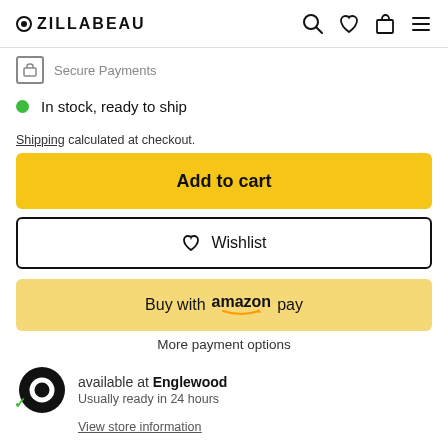ZILLABEAU
Secure Payments
In stock, ready to ship
Shipping calculated at checkout.
Add to cart
♡ Wishlist
Buy with amazon pay
More payment options
available at Englewood
Usually ready in 24 hours
View store information